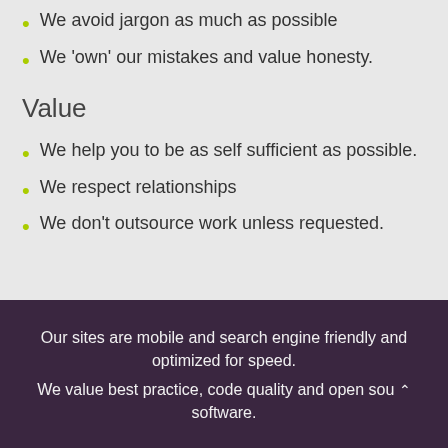We avoid jargon as much as possible
We 'own' our mistakes and value honesty.
Value
We help you to be as self sufficient as possible.
We respect relationships
We don't outsource work unless requested.
Our sites are mobile and search engine friendly and optimized for speed.
We value best practice, code quality and open sou software.